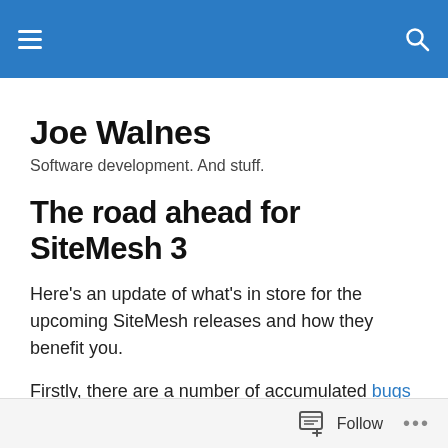Joe Walnes — navigation header bar
Joe Walnes
Software development. And stuff.
The road ahead for SiteMesh 3
Here's an update of what's in store for the upcoming SiteMesh releases and how they benefit you.
Firstly, there are a number of accumulated bugs that we're steadily working our way through. The recent 2.1 and 2.2 releases have been mostly bugfixes, and this will continue
Follow ...